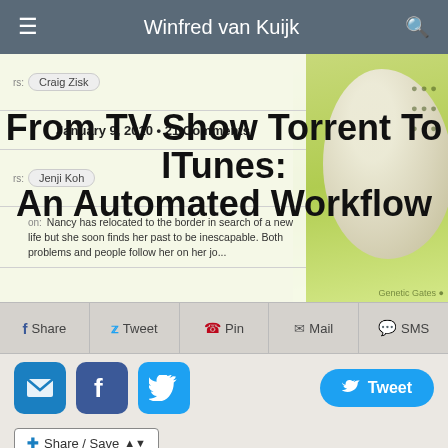Winfred van Kuijk
[Figure (screenshot): Blog post screenshot showing article metadata and title overlay on a yellow-green background with decorative image on right]
From TV Show Torrent To ITunes: An Automated Workflow
January 9, 2010 • 21 Comments
Nancy has relocated to the border in search of a new life but she soon finds her past to be inescapable. Both problems and people follow her on her journey...
Share  Tweet  Pin  Mail  SMS
[Figure (infographic): Row of social sharing buttons: mail, facebook, twitter icons and a Tweet button]
Share / Save
[Figure (photo): Small thumbnail image at bottom left]